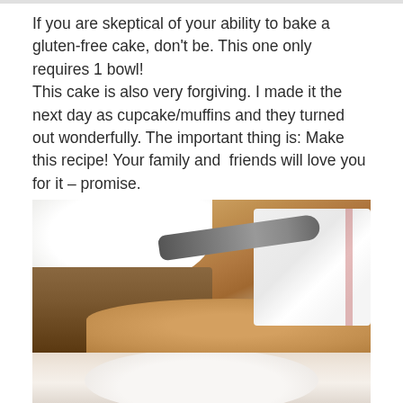If you are skeptical of your ability to bake a gluten-free cake, don't be. This one only requires 1 bowl!
This cake is also very forgiving. I made it the next day as cupcake/muffins and they turned out wonderfully. The important thing is: Make this recipe! Your family and  friends will love you for it – promise.
[Figure (photo): Photo of a gluten-free cake with whipped cream topping on a wooden plate, with a spoon and cloth napkin, being served. Below is a partial image showing a white plate or bowl.]